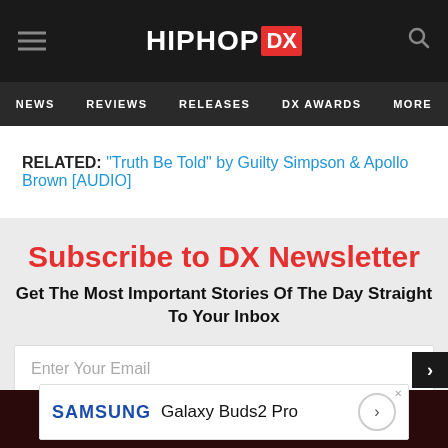HipHopDX — NEWS | REVIEWS | RELEASES | DX AWARDS | MORE
RELATED: "Truth Be Told" by Guilty Simpson & Apollo Brown [AUDIO]
Subscribe to DX Newsletter
Get The Most Important Stories Of The Day Straight To Your Inbox
Enter Your Email
[Figure (screenshot): Samsung Galaxy Buds2 Pro advertisement banner]